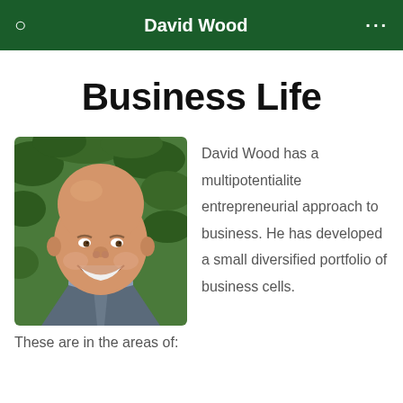David Wood
Business Life
[Figure (photo): Headshot of David Wood, a bald smiling man in a suit, photographed outdoors with green foliage behind him.]
David Wood has a multipotentialite entrepreneurial approach to business. He has developed a small diversified portfolio of business cells.
These are in the areas of: